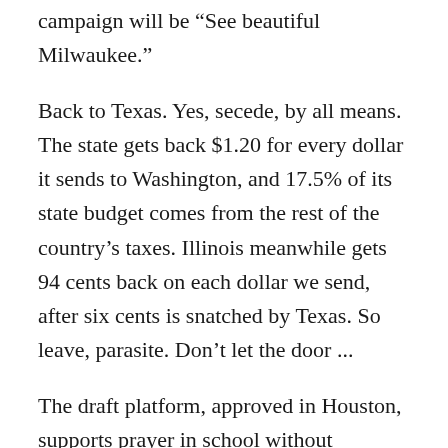campaign will be “See beautiful Milwaukee.”
Back to Texas. Yes, secede, by all means. The state gets back $1.20 for every dollar it sends to Washington, and 17.5% of its state budget comes from the rest of the country’s taxes. Illinois meanwhile gets 94 cents back on each dollar we send, after six cents is snatched by Texas. So leave, parasite. Don’t let the door ...
The draft platform, approved in Houston, supports prayer in school without specifying whose prayer — the assumption that everybody is a Christian, or will be, is their bedrock. Let’s just say there’s nothing about allocating public funds for prayer rugs.
I haven’t even begun to mine the platform’s 40 pages...